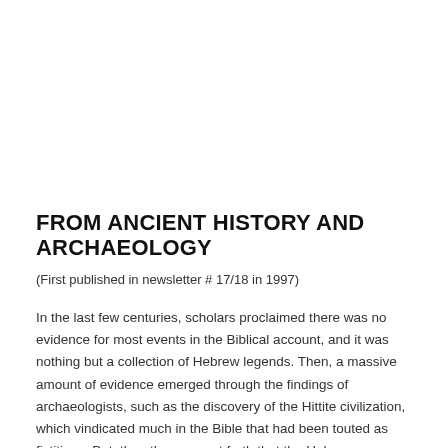FROM ANCIENT HISTORY AND ARCHAEOLOGY
(First published in newsletter # 17/18 in 1997)
In the last few centuries, scholars proclaimed there was no evidence for most events in the Biblical account, and it was nothing but a collection of Hebrew legends. Then, a massive amount of evidence emerged through the findings of archaeologists, such as the discovery of the Hittite civilization, which vindicated much in the Bible that had been touted as fictitious. But, then the cry went forth that the Hebrews “borrowed” or “copied” stories from the peoples around them.